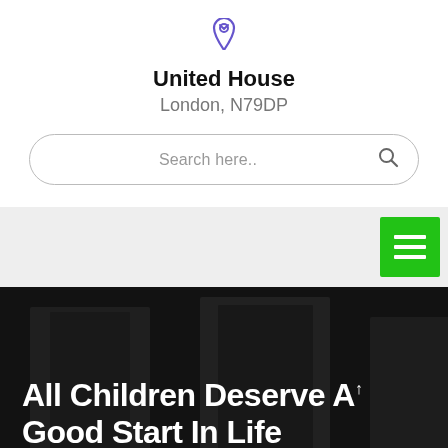[Figure (illustration): Purple/indigo location pin icon at the top center]
United House
London, N79DP
[Figure (other): Search bar with placeholder text 'Search here..' and a magnifying glass icon on the right]
[Figure (other): Gray navigation bar with a green hamburger menu button on the right]
[Figure (photo): Dark blurred indoor photo used as hero background image]
All Children Deserve A Good Start In Life